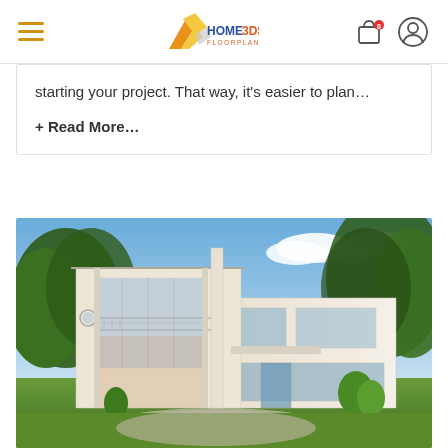HOME 3DS FLOORPLAN — navigation header with hamburger menu and cart/user icons
starting your project. That way, it's easier to plan...
+ Read More...
[Figure (photo): Exterior 3D rendering of a modern two-story white house with large glass windows, balcony with metal railings, flat roof sections, surrounded by green trees under a blue sky with white clouds, green lawn in foreground.]